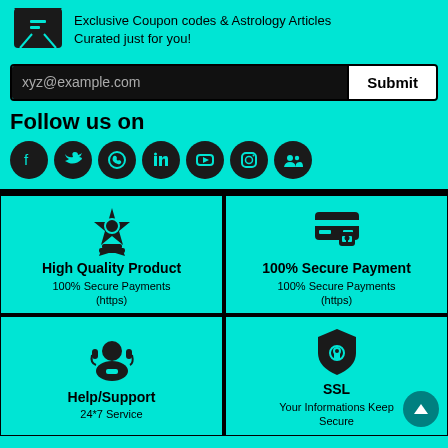Exclusive Coupon codes & Astrology Articles
Curated just for you!
xyz@example.com
Submit
Follow us on
[Figure (infographic): Social media icons row: Facebook, Twitter, WhatsApp, LinkedIn, YouTube, Instagram, Google groups]
[Figure (infographic): 4-cell features grid: High Quality Product (award icon), 100% Secure Payment (credit card icon), Help/Support (headset icon), SSL (shield icon)]
High Quality Product
100% Secure Payments (https)
100% Secure Payment
100% Secure Payments (https)
Help/Support
24*7 Service
SSL
Your Informations Keep Secure